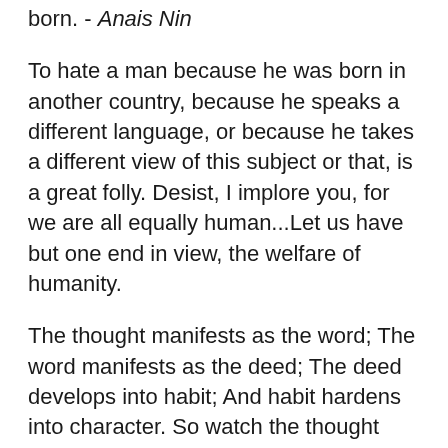born. - Anais Nin
To hate a man because he was born in another country, because he speaks a different language, or because he takes a different view of this subject or that, is a great folly. Desist, I implore you, for we are all equally human...Let us have but one end in view, the welfare of humanity.
The thought manifests as the word; The word manifests as the deed; The deed develops into habit; And habit hardens into character. So watch the thought and its ways with care, And let it spring from love Born out of concern for all beings.